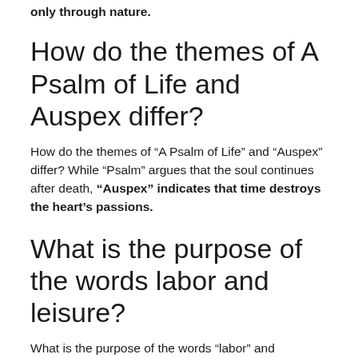only through nature.
How do the themes of A Psalm of Life and Auspex differ?
How do the themes of “A Psalm of Life” and “Auspex” differ? While “Psalm” argues that the soul continues after death, “Auspex” indicates that time destroys the heart’s passions.
What is the purpose of the words labor and leisure?
What is the purpose of the words “labor” and “leisure”? They are aspects of life that